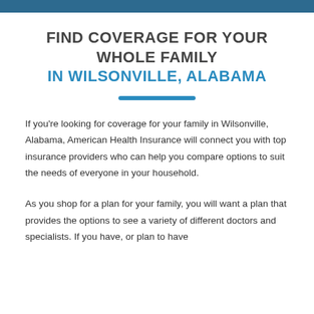FIND COVERAGE FOR YOUR WHOLE FAMILY IN WILSONVILLE, ALABAMA
If you're looking for coverage for your family in Wilsonville, Alabama, American Health Insurance will connect you with top insurance providers who can help you compare options to suit the needs of everyone in your household.
As you shop for a plan for your family, you will want a plan that provides the options to see a variety of different doctors and specialists. If you have, or plan to have